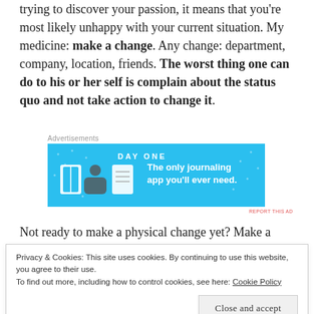trying to discover your passion, it means that you're most likely unhappy with your current situation. My medicine: make a change. Any change: department, company, location, friends. The worst thing one can do to his or her self is complain about the status quo and not take action to change it.
[Figure (screenshot): Advertisement banner for Day One journaling app on blue background with icons and text: 'The only journaling app you'll ever need.']
Not ready to make a physical change yet? Make a
Privacy & Cookies: This site uses cookies. By continuing to use this website, you agree to their use.
To find out more, including how to control cookies, see here: Cookie Policy
Close and accept